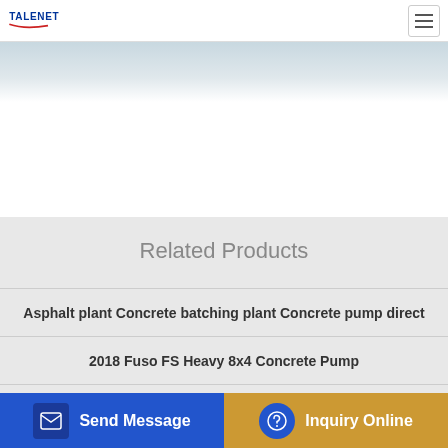TALENET
[Figure (illustration): Gray/blue banner image area at the top of the page]
Related Products
Asphalt plant Concrete batching plant Concrete pump direct
2018 Fuso FS Heavy 8x4 Concrete Pump
Dongfeng EQ5230THBL Concrete pump truck on EQ5230GLJ
ISUZU CHASSIS 37M Concrete Pumps for Sale
Send Message
Inquiry Online